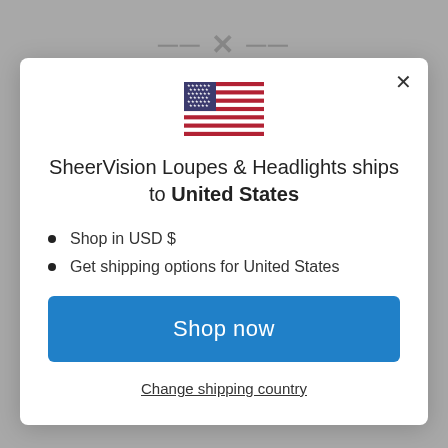[Figure (screenshot): US flag emoji centered in modal dialog]
SheerVision Loupes & Headlights ships to United States
Shop in USD $
Get shipping options for United States
Shop now
Change shipping country